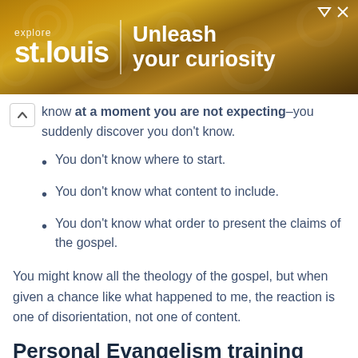[Figure (photo): Advertisement banner for Explore St. Louis with gold gear background, text 'explore st.louis | Unleash your curiosity']
know at a moment you are not expecting–you suddenly discover you don't know.
You don't know where to start.
You don't know what content to include.
You don't know what order to present the claims of the gospel.
You might know all the theology of the gospel, but when given a chance like what happened to me, the reaction is one of disorientation, not one of content.
Personal Evangelism training gives you the place to learn